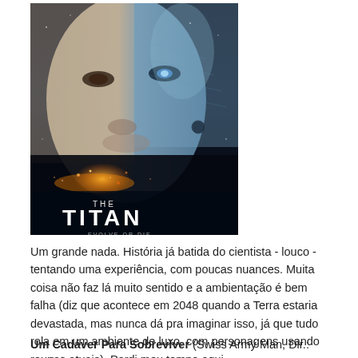[Figure (photo): Movie poster for 'The Titan' showing a man's face partially transformed into an alien/silver being, with a space scene below and the title 'THE TITAN' in large white letters at the bottom, with 'EVOLVE OR DIE' tagline]
Um grande nada. História já batida do cientista - louco - tentando uma experiência, com poucas nuances. Muita coisa não faz lá muito sentido e a ambientação é bem falha (diz que acontece em 2048 quando a Terra estaria devastada, mas nunca dá pra imaginar isso, já que tudo rola em um ambiente de luxo, com personagens usando roupas atuais). Perdi meu tempo aqui.
Um Cadáver Para Sobreviver (Swiss Army Man, Dir.: Daniel